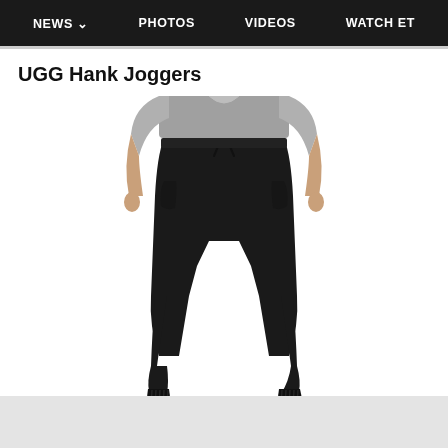NEWS  PHOTOS  VIDEOS  WATCH ET
UGG Hank Joggers
[Figure (photo): A man wearing black UGG Hank Jogger sweatpants with ribbed cuffs at the ankles and a drawstring waistband, shown from the waist down, standing barefoot against a white background. He is also wearing a gray t-shirt visible at the top of the image.]